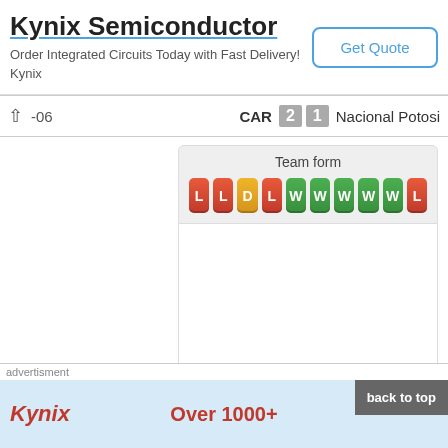Kynix Semiconductor
Order Integrated Circuits Today with Fast Delivery! Kynix
Get Quote
-06  CAR  2  1  Nacional Potosi
Team form
L L D L W W W W W L
advertisment
Kynix
Over 1000+
back to top